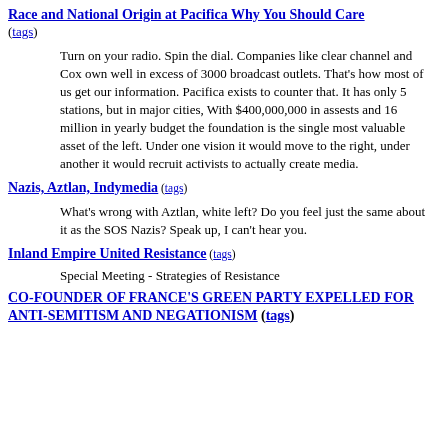Race and National Origin at Pacifica Why You Should Care (tags)
Turn on your radio. Spin the dial. Companies like clear channel and Cox own well in excess of 3000 broadcast outlets. That's how most of us get our information. Pacifica exists to counter that. It has only 5 stations, but in major cities, With $400,000,000 in assests and 16 million in yearly budget the foundation is the single most valuable asset of the left. Under one vision it would move to the right, under another it would recruit activists to actually create media.
Nazis, Aztlan, Indymedia (tags)
What's wrong with Aztlan, white left? Do you feel just the same about it as the SOS Nazis? Speak up, I can't hear you.
Inland Empire United Resistance (tags)
Special Meeting - Strategies of Resistance
CO-FOUNDER OF FRANCE'S GREEN PARTY EXPELLED FOR ANTI-SEMITISM AND NEGATIONISM (tags)